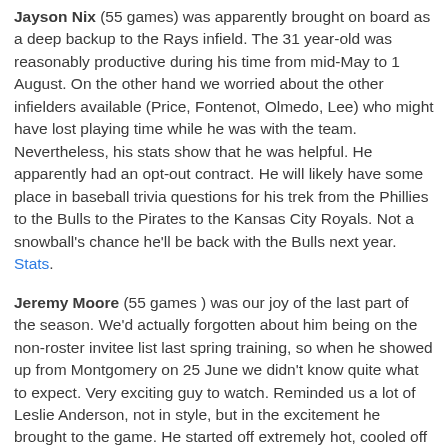Jayson Nix (55 games) was apparently brought on board as a deep backup to the Rays infield. The 31 year-old was reasonably productive during his time from mid-May to 1 August. On the other hand we worried about the other infielders available (Price, Fontenot, Olmedo, Lee) who might have lost playing time while he was with the team. Nevertheless, his stats show that he was helpful. He apparently had an opt-out contract. He will likely have some place in baseball trivia questions for his trek from the Phillies to the Bulls to the Pirates to the Kansas City Royals. Not a snowball's chance he'll be back with the Bulls next year. Stats.
Jeremy Moore (55 games ) was our joy of the last part of the season. We'd actually forgotten about him being on the non-roster invitee list last spring training, so when he showed up from Montgomery on 25 June we didn't know quite what to expect. Very exciting guy to watch. Reminded us a lot of Leslie Anderson, not in style, but in the excitement he brought to the game. He started off extremely hot, cooled off a bit, but the Bulls finally had a power hitting outfielder to pair with Mikie Mahtook. With 12 homers in 55 games he was on